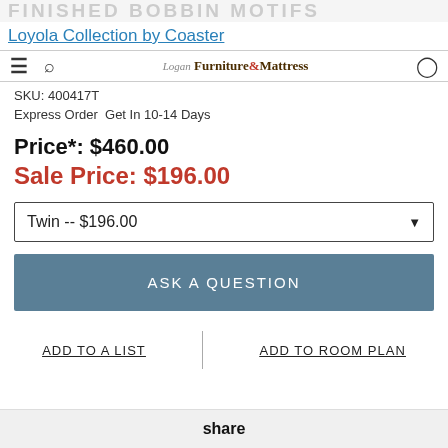FINISHED BOBBIN MOTIFS | Loyola Collection by Coaster
SKU: 400417T
Express Order  Get In 10-14 Days
Price*: $460.00
Sale Price: $196.00
Twin -- $196.00
ASK A QUESTION
ADD TO A LIST
ADD TO ROOM PLAN
share